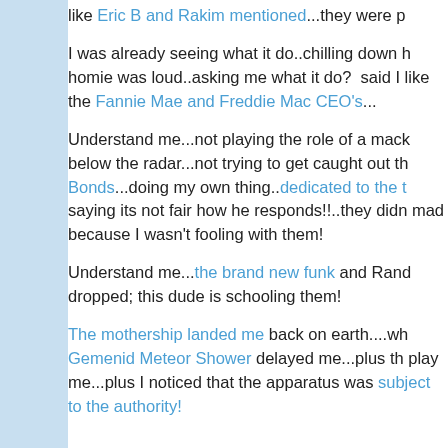like Eric B and Rakim mentioned...they were p
I was already seeing what it do..chilling down h homie was loud..asking me what it do?  said I like the Fannie Mae and Freddie Mac CEO's...
Understand me...not playing the role of a mack below the radar...not trying to get caught out th Bonds...doing my own thing..dedicated to the t saying its not fair how he responds!!..they didn mad because I wasn't fooling with them!
Understand me...the brand new funk and Rand dropped; this dude is schooling them!
The mothership landed me back on earth....wh Gemenid Meteor Shower delayed me...plus the play me...plus I noticed that the apparatus was subject to the authority!